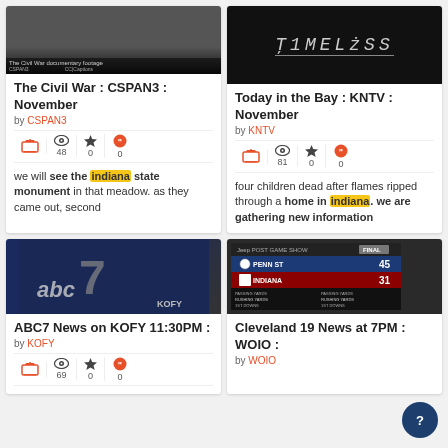[Figure (screenshot): Video thumbnail for The Civil War on CSPAN3]
The Civil War : CSPAN3 : November
by CSPAN3
48 views, 0 stars, 0 quotes
we will see the indiana state monument in that meadow. as they came out, second
[Figure (screenshot): Video thumbnail for Today in the Bay on KNTV — Timeless title card on black background]
Today in the Bay : KNTV : November
by KNTV
81 views, 0 stars, 0 quotes
four children dead after flames ripped through a home in indiana. we are gathering new information
[Figure (screenshot): ABC7 KOFY station logo thumbnail]
ABC7 News on KOFY 11:30PM :
by KOFY
69 views, 0 stars, 0 quotes
[Figure (screenshot): Penn St 45 Indiana 31 post game scoreboard]
Cleveland 19 News at 7PM : WOIO :
by WOIO